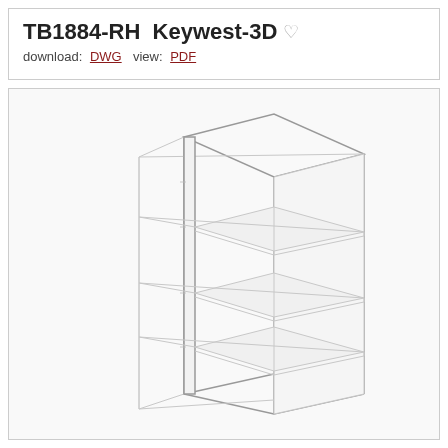TB1884-RH  Keywest-3D
download: DWG  view: PDF
[Figure (engineering-diagram): 3D isometric line drawing of a tall open bookcase/shelving unit (TB1884-RH Keywest-3D) shown in light gray lines on white background. The unit has 4 open shelves visible, with the cabinet shown in an isometric perspective view. No doors, open frame construction with horizontal shelf lines visible inside.]